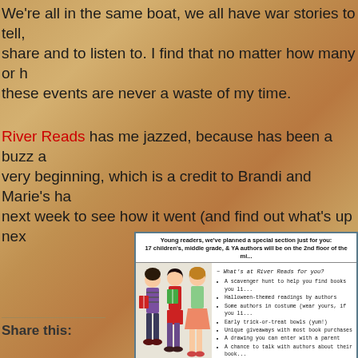We're all in the same boat, we all have war stories to tell, share and to listen to. I find that no matter how many or h these events are never a waste of my time.
River Reads has me jazzed, because has been a buzz a very beginning, which is a credit to Brandi and Marie's ha next week to see how it went (and find out what's up nex
[Figure (illustration): Flyer for River Reads event showing young readers section. Header text: 'Young readers, we've planned a special section just for you: 17 children's, middle grade, & YA authors will be on the 2nd floor of the mi...' Body shows three illustrated cartoon children/teens reading books on the left, and a handwritten-style list on the right titled '~ What's at River Reads for you?' with bullet points: A scavenger hunt to help you find books you li... Halloween-themed readings by authors, Some authors in costume (wear yours, if you li... Early trick-or-treat bowls (yum!), Unique giveaways with most book purchases, A drawing you can enter with a parent, A chance to talk with authors about their book...]
Share this: